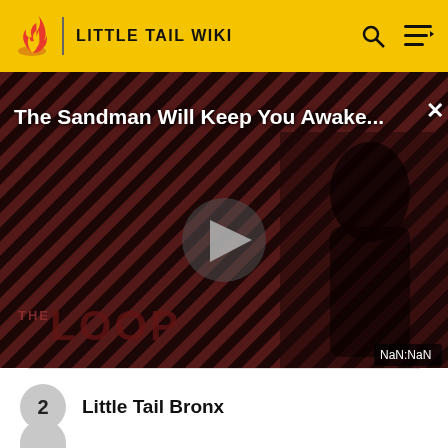LITTLE TAIL WIKI
[Figure (screenshot): Video player showing 'The Sandman Will Keep You Awake...' with a dark figure, diagonal red and black stripe background, play button in center, loop branding at bottom left, and NaN:NaN timestamp at bottom right]
2  Little Tail Bronx